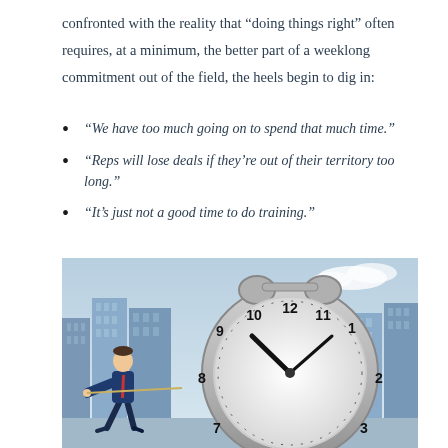confronted with the reality that “doing things right” often requires, at a minimum, the better part of a weeklong commitment out of the field, the heels begin to dig in:
“We have too much going on to spend that much time.”
“Reps will lose deals if they’re out of their territory too long.”
“It’s just not a good time to do training.”
[Figure (photo): A businessman in a suit leans back and pulls on a rope attached to a large alarm clock, with a city skyline in the background. The clock shows approximately 10:10.]